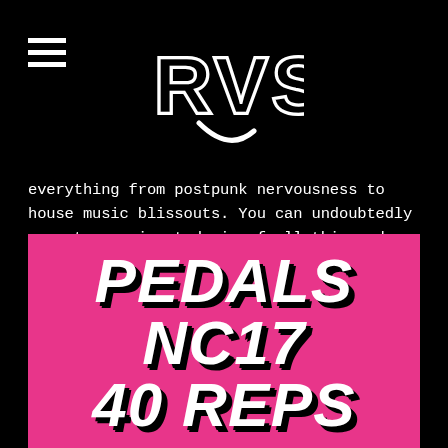[Figure (logo): RVS logo in white stylized lettering on black background, center top of page]
everything from postpunk nervousness to house music blissouts. You can undoubtedly expect a variegated mix of all this and more when Holy Fuck come to the Camel tomorrow night, and whether you come to bang your head or move your feet, they're sure to supply you with a perfect soundtrack.
[Figure (infographic): Pink banner with large bold italic white text reading PEDALS / NC17 / 40 REPS with black drop shadows]